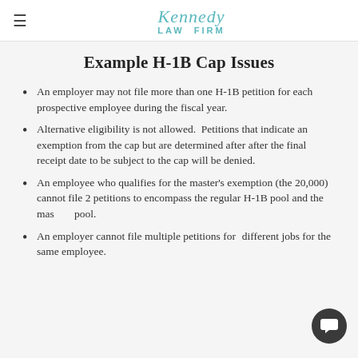Kennedy Law Firm
Example H-1B Cap Issues
An employer may not file more than one H-1B petition for each prospective employee during the fiscal year.
Alternative eligibility is not allowed. Petitions that indicate an exemption from the cap but are determined after after the final receipt date to be subject to the cap will be denied.
An employee who qualifies for the master's exemption (the 20,000) cannot file 2 petitions to encompass the regular H-1B pool and the master's pool.
An employer cannot file multiple petitions for different jobs for the same employee.